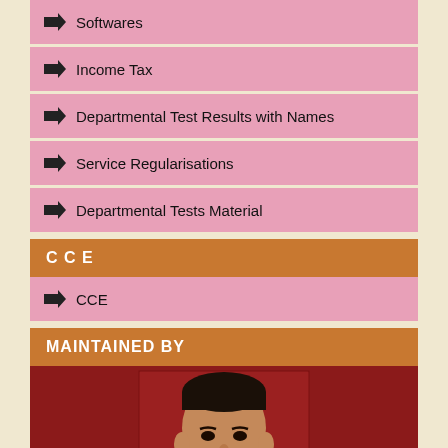Softwares
Income Tax
Departmental Test Results with Names
Service Regularisations
Departmental Tests Material
CCE
CCE
MAINTAINED BY
[Figure (photo): Portrait photo of a man wearing a light pink striped shirt, against a red background. The photo is in passport/ID style.]